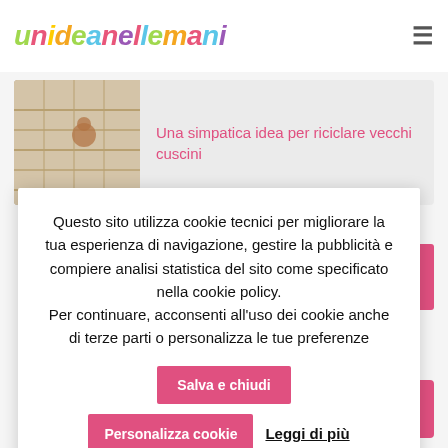unideanellemani
[Figure (screenshot): Thumbnail image of a dog sitting in a basket made from old cushions]
Una simpatica idea per riciclare vecchi cuscini
Questo sito utilizza cookie tecnici per migliorare la tua esperienza di navigazione, gestire la pubblicità e compiere analisi statistica del sito come specificato nella cookie policy.
Per continuare, acconsenti all'uso dei cookie anche di terze parti o personalizza le tue preferenze
Salva e chiudi
Personalizza cookie
Leggi di più
Foto preferite